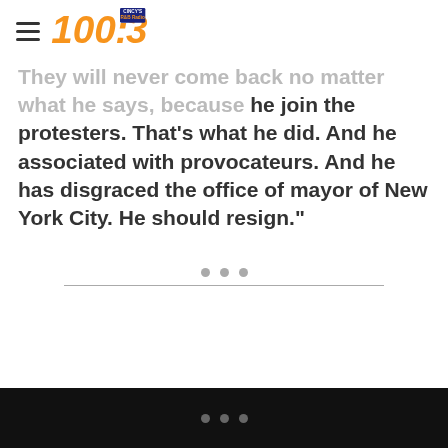100.3 Cincy's R&B Radio
and he associated with provocateurs.  And he has disgraced the office of mayor of New York City.  He should resign."